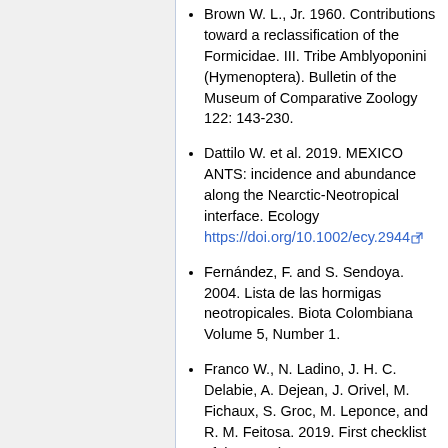Brown W. L., Jr. 1960. Contributions toward a reclassification of the Formicidae. III. Tribe Amblyoponini (Hymenoptera). Bulletin of the Museum of Comparative Zoology 122: 143-230.
Dattilo W. et al. 2019. MEXICO ANTS: incidence and abundance along the Nearctic-Neotropical interface. Ecology https://doi.org/10.1002/ecy.2944
Fernández, F. and S. Sendoya. 2004. Lista de las hormigas neotropicales. Biota Colombiana Volume 5, Number 1.
Franco W., N. Ladino, J. H. C. Delabie, A. Dejean, J. Orivel, M. Fichaux, S. Groc, M. Leponce, and R. M. Feitosa. 2019. First checklist of the ants (Hymenoptera: Formicidae)